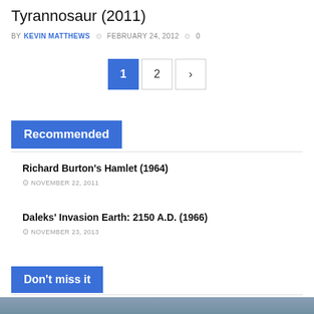Tyrannosaur (2011)
BY KEVIN MATTHEWS  FEBRUARY 24, 2012  0
1 2 >
Recommended
Richard Burton's Hamlet (1964)
NOVEMBER 22, 2011
Daleks' Invasion Earth: 2150 A.D. (1966)
NOVEMBER 23, 2013
Don't miss it
[Figure (photo): Partial view of a person, bottom of page]